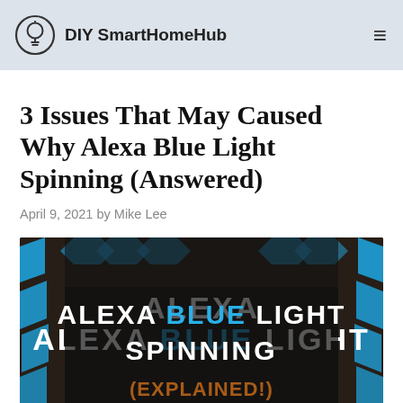DIY SmartHomeHub
3 Issues That May Caused Why Alexa Blue Light Spinning (Answered)
April 9, 2021 by Mike Lee
[Figure (photo): Featured image for article showing text: ALEXA BLUE LIGHT SPINNING (EXPLAINED!) with blue hexagon background elements and dark background overlay, watermark DIYSMARTHOMEHUB.COM]